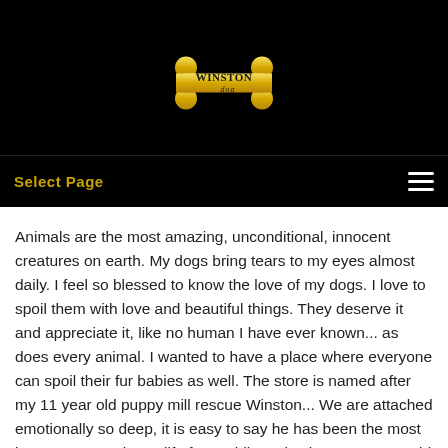[Figure (logo): Winston Dog logo — a golden/yellow dog bone shape with 'WINSTON dog' text in black on it]
Select Page
Animals are the most amazing, unconditional, innocent creatures on earth. My dogs bring tears to my eyes almost daily. I feel so blessed to know the love of my dogs. I love to spoil them with love and beautiful things. They deserve it and appreciate it, like no human I have ever known... as does every animal. I wanted to have a place where everyone can spoil their fur babies as well. The store is named after my 11 year old puppy mill rescue Winston... We are attached emotionally so deep, it is easy to say he has been the most important MAN in my life for a while. I also have a rescue girl named Isabella from Mexico... Rescues are the most